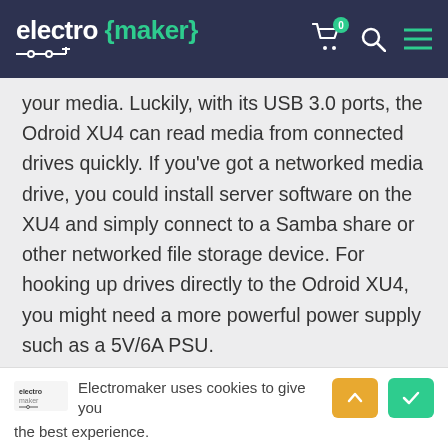electro {maker}
your media. Luckily, with its USB 3.0 ports, the Odroid XU4 can read media from connected drives quickly. If you've got a networked media drive, you could install server software on the XU4 and simply connect to a Samba share or other networked file storage device. For hooking up drives directly to the Odroid XU4, you might need a more powerful power supply such as a 5V/6A PSU.
Odroid XU4 media server considerations:
Electromaker uses cookies to give you the best experience.